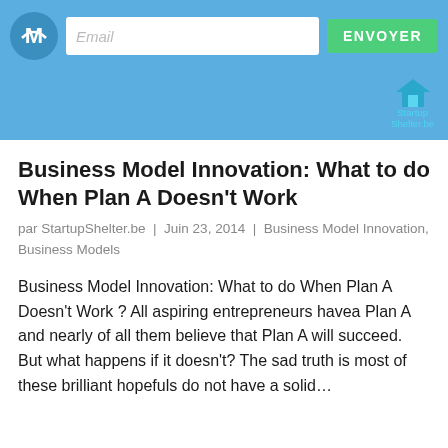Email | ENVOYER
[Figure (logo): StartupShelter.be logo with house icon and teal text]
Business Model Innovation: What to do When Plan A Doesn't Work
par StartupShelter.be  |  Juin 23, 2014  |  Business Model Innovation, Business Models
Business Model Innovation: What to do When Plan A Doesn't Work ? All aspiring entrepreneurs havea Plan A and nearly of all them believe that Plan A will succeed. But what happens if it doesn't? The sad truth is most of these brilliant hopefuls do not have a solid...